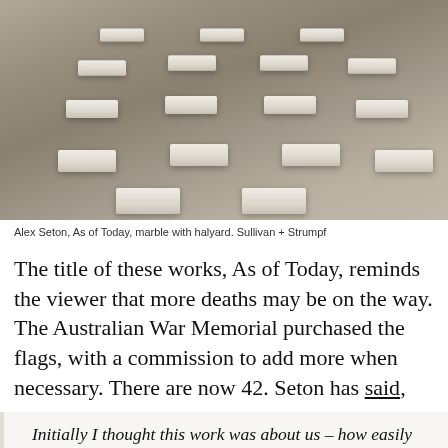[Figure (photo): Gallery installation photo showing rows of marble folded fabric works arranged in a grid pattern on a concrete floor, viewed from slightly above. The works (As of Today by Alex Seton) appear as neatly stacked folded cloth forms, rendered in white marble.]
Alex Seton, As of Today, marble with halyard. Sullivan + Strumpf
The title of these works, As of Today, reminds the viewer that more deaths may be on the way. The Australian War Memorial purchased the flags, with a commission to add more when necessary. There are now 42. Seton has said,
Initially I thought this work was about us – how easily we forget – but it is not about us at all. It is about those who gave their lives and whose memory